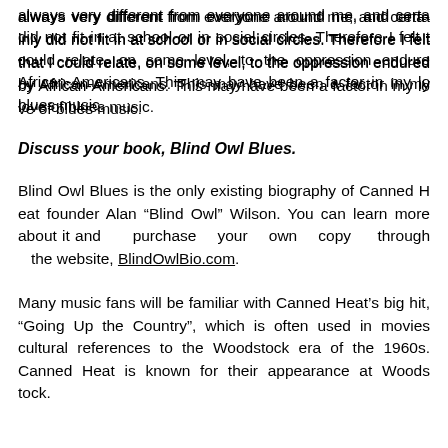always very different from everyone around me, and certainly did not fit in at school or in social circles. Therefore I felt that I could relate, on some level, to the oppression endured by African-Americans. This may have been a factor in my love of blues music.
Discuss your book, Blind Owl Blues.
Blind Owl Blues is the only existing biography of Canned Heat founder Alan “Blind Owl” Wilson. You can learn more about it and purchase your own copy through the website, BlindOwlBio.com.
Many music fans will be familiar with Canned Heat’s big hit, “Going Up the Country”, which is often used in movies as cultural references to the Woodstock era of the 1960s. Canned Heat is known for their appearance at Woodstock.